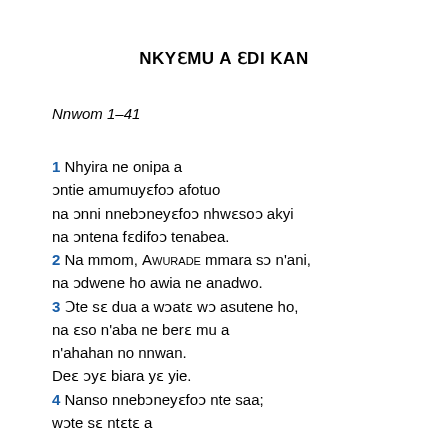NKYƐMU A ƐDI KAN
Nnwom 1–41
1 Nhyira ne onipa a ɔntie amumuyɛfoɔ afotuo na ɔnni nnebɔneyɛfoɔ nhwɛsoɔ akyi na ɔntena fɛdifoɔ tenabea. 2 Na mmom, AWURADE mmara sɔ n'ani, na ɔdwene ho awia ne anadwo. 3 Ɔte sɛ dua a wɔatɛ wɔ asutene ho, na ɛso n'aba ne berɛ mu a n'ahahan no nnwan. Deɛ ɔyɛ biara yɛ yie. 4 Nanso nnebɔneyɛfoɔ nte saa; wɔte sɛ ntɛtɛ a